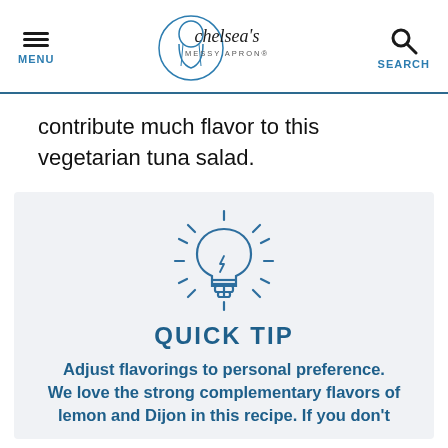chelsea's MESSY APRON®
contribute much flavor to this vegetarian tuna salad.
[Figure (illustration): Light bulb icon in dark blue outline style with rays around it, on a light gray background]
QUICK TIP
Adjust flavorings to personal preference. We love the strong complementary flavors of lemon and Dijon in this recipe. If you don't